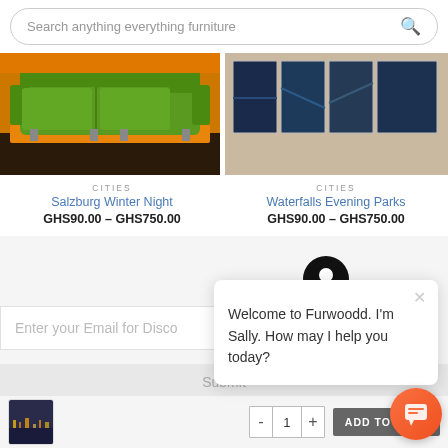[Figure (screenshot): E-commerce furniture website screenshot showing search bar, product listings, chat widget, email signup, and cart bar]
Search anything everything furniture
CITIES
Salzburg Winter Night
GHS90.00 – GHS750.00
CITIES
Waterfalls Evening Parks
GHS90.00 – GHS750.00
Welcome to Furwoodd. I'm Sally. How may I help you today?
Enter your Email for Disco
Submit
ADD TO CART